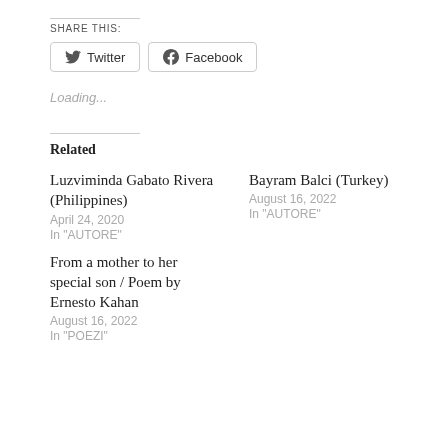SHARE THIS:
[Figure (screenshot): Two social share buttons: Twitter and Facebook]
Loading...
Related
Luzviminda Gabato Rivera (Philippines)
April 24, 2020
In "AUTORE"
Bayram Balci (Turkey)
August 16, 2022
In "AUTORE"
From a mother to her special son / Poem by Ernesto Kahan
August 16, 2022
In "POEZI"